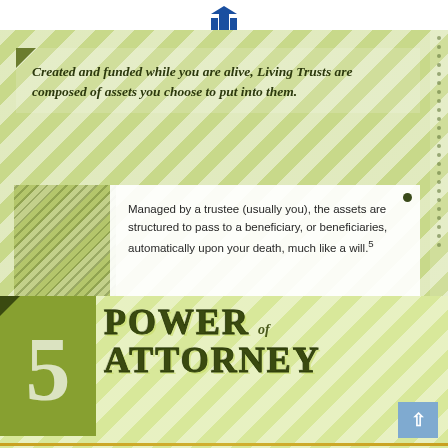[Figure (logo): Blue building/column logo with company name below]
Created and funded while you are alive, Living Trusts are composed of assets you choose to put into them.
Managed by a trustee (usually you), the assets are structured to pass to a beneficiary, or beneficiaries, automatically upon your death, much like a will.⁵
5 POWER of ATTORNEY